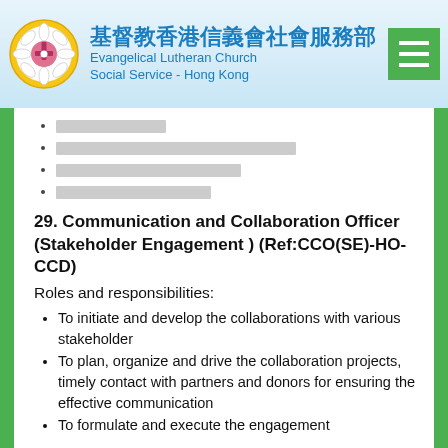基督教香港信義會社會服務部 Evangelical Lutheran Church Social Service - Hong Kong
[Chinese text - bullet 1]
[Chinese text - bullet 2]
[Chinese text - bullet 3]
[Chinese text - bullet 4]
29. Communication and Collaboration Officer (Stakeholder Engagement ) (Ref:CCO(SE)-HO-CCD)
Roles and responsibilities:
To initiate and develop the collaborations with various stakeholder
To plan, organize and drive the collaboration projects, timely contact with partners and donors for ensuring the effective communication
To formulate and execute the engagement